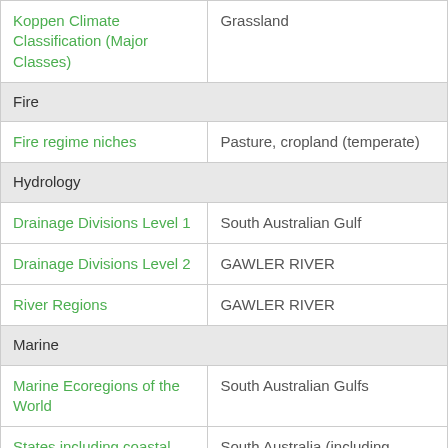| Property | Value |
| --- | --- |
| Koppen Climate Classification (Major Classes) | Grassland |
| Fire |  |
| Fire regime niches | Pasture, cropland (temperate) |
| Hydrology |  |
| Drainage Divisions Level 1 | South Australian Gulf |
| Drainage Divisions Level 2 | GAWLER RIVER |
| River Regions | GAWLER RIVER |
| Marine |  |
| Marine Ecoregions of the World | South Australian Gulfs |
| States including coastal waters | South Australia (including Coastal Waters) |
| Political |  |
| ASGS Australian States and Territories | South Australia |